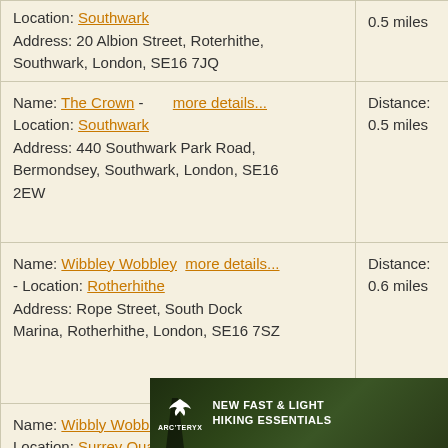| Name / Location / Address | Distance | Rating |
| --- | --- | --- |
| Location: Southwark
Address: 20 Albion Street, Roterhithe, Southwark, London, SE16 7JQ | 0.5 miles | 4.7/ |
| Name: The Crown - more details...
Location: Southwark
Address: 440 Southwark Park Road, Bermondsey, Southwark, London, SE16 2EW | Distance: 0.5 miles | 4.7/ |
| Name: Wibbley Wobbley  more details...
- Location: Rotherhithe
Address: Rope Street, South Dock Marina, Rotherhithe, London, SE16 7SZ | Distance: 0.6 miles | 8.3/ |
| Name: Wibbly Wobbly - more details...
Location: Surrey Quays
Address: Surre... | Distance: 0.6 miles | 7.3/ |
[Figure (photo): Arc'teryx advertisement banner: 'NEW FAST & LIGHT HIKING ESSENTIALS' with outdoor/forest background imagery and Arc'teryx logo]